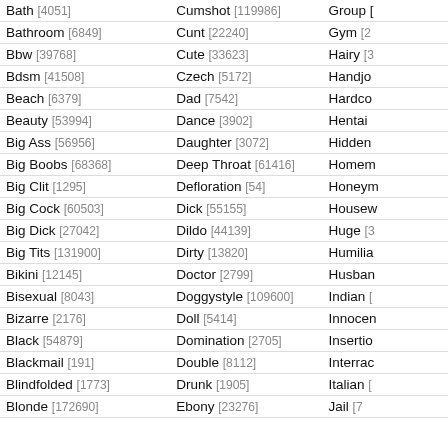| Term [Count] | Term [Count] | Term [Count] |
| --- | --- | --- |
| Bath [4051] | Cumshot [119986] | Group [...] |
| Bathroom [6849] | Cunt [22240] | Gym [2...] |
| Bbw [39768] | Cute [33623] | Hairy [3...] |
| Bdsm [41508] | Czech [5172] | Handjo... |
| Beach [6379] | Dad [7542] | Hardco... |
| Beauty [53994] | Dance [3902] | Hentai ... |
| Big Ass [56956] | Daughter [3072] | Hidden... |
| Big Boobs [68368] | Deep Throat [61416] | Homem... |
| Big Clit [1295] | Defloration [54] | Honeym... |
| Big Cock [60503] | Dick [55155] | Housew... |
| Big Dick [27042] | Dildo [44139] | Huge [3...] |
| Big Tits [131900] | Dirty [13820] | Humilia... |
| Bikini [12145] | Doctor [2799] | Husban... |
| Bisexual [8043] | Doggystyle [109600] | Indian [... |
| Bizarre [2176] | Doll [5414] | Innocen... |
| Black [54879] | Domination [2705] | Insertio... |
| Blackmail [191] | Double [8112] | Interrac... |
| Blindfolded [1773] | Drunk [1905] | Italian [... |
| Blonde [172690] | Ebony [23276] | Jail [7...] |